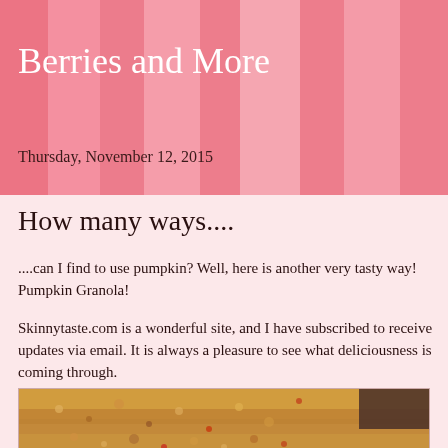Berries and More
Thursday, November 12, 2015
How many ways....
....can I find to use pumpkin?  Well, here is another very tasty way!  Pumpkin Granola!
Skinnytaste.com is a wonderful site, and I have subscribed to receive updates via email.  It is always a pleasure to see what deliciousness is coming through.
[Figure (photo): Close-up photo of pumpkin granola in a baking pan, showing oats, nuts, and cranberries with a golden brown color]